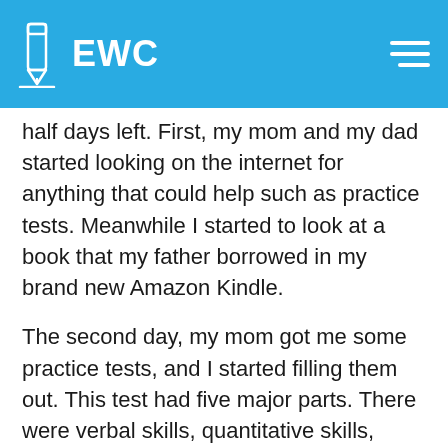EWC
half days left. First, my mom and my dad started looking on the internet for anything that could help such as practice tests. Meanwhile I started to look at a book that my father borrowed in my brand new Amazon Kindle.
The second day, my mom got me some practice tests, and I started filling them out. This test had five major parts. There were verbal skills, quantitative skills, reading, mathematics, and language. The second morning, I started getting distracted from the test. My brother and my sister were arguing about something in the background, and there were notifications popping on my screen. The actual time I studied was two hours when the total time I sat in front of the computer was three or four hours.
In the afternoon, I checked how much time was left.